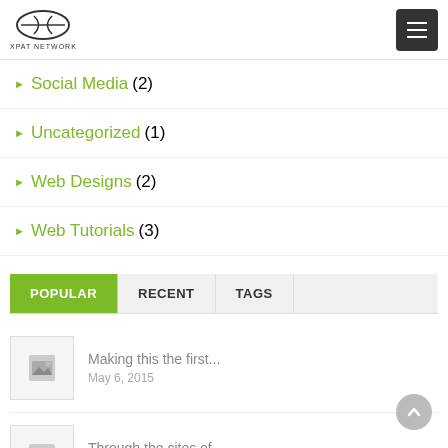XPAT NETWORK
Social Media (2)
Uncategorized (1)
Web Designs (2)
Web Tutorials (3)
POPULAR | RECENT | TAGS
Making this the first...
May 6, 2015
Through the cites of...
August 10, 2015